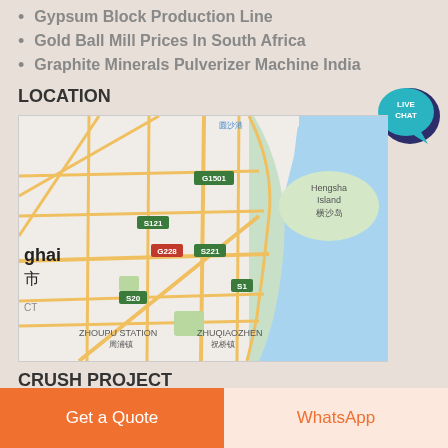Gypsum Block Production Line
Gold Ball Mill Prices In South Africa
Graphite Minerals Pulverizer Machine India
[Figure (other): Live Chat bubble icon in teal/dark blue]
LOCATION
[Figure (map): Google Maps view of Shanghai area showing Hengsha Island, ZHOUPU STATION, ZHUQIAOZHEN, roads G1501, S121, G228, S221, S20, S1]
CRUSH PROJECT
Get a Quote
WhatsApp